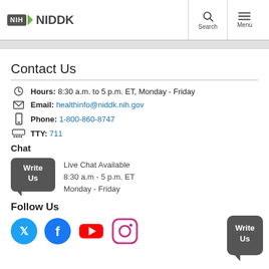NIH NIDDK
Contact Us
Hours: 8:30 a.m. to 5 p.m. ET, Monday - Friday
Email: healthinfo@niddk.nih.gov
Phone: 1-800-860-8747
TTY: 711
Chat
Live Chat Available
8:30 a.m - 5 p.m. ET
Monday - Friday
Follow Us